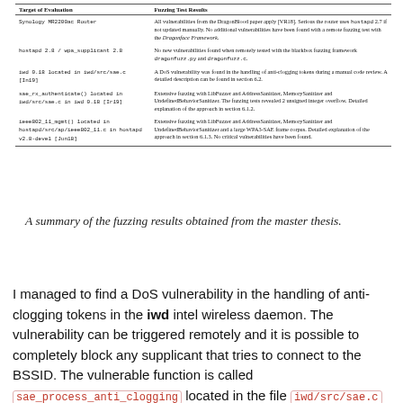| Target of Evaluation | Fuzzing Test Results |
| --- | --- |
| Synology MR2200ac Router | All vulnerabilities from the DragonBlood paper apply [VR18]. Serious the router uses hostapd 2.7 if not updated manually. No additional vulnerabilities have been found with a remote fuzzing test with the Dragonface Framework. |
| hostapd 2.8 / wpa_supplicant 2.8 | No new vulnerabilities found when remotely tested with the blackbox fuzzing framework dragonfuzz.py and dragonfuzz.c. |
| iwd 0.18 located in iwd/src/sae.c [In19] | A DoS vulnerability was found in the handling of anti-clogging tokens during a manual code review. A detailed description can be found in section 6.2. |
| sae_rx_authenticate() located in iwd/src/sae.c in iwd 0.18 [Ir19] | Extensive fuzzing with LibFuzzer and AddressSanitizer, MemorySanitizer and UndefinedBehaviorSanitizer. The fuzzing tests revealed 2 unsigned integer overflow. Detailed explanation of the approach in section 6.1.2. |
| ieee802_11_mgmt() located in hostapd/src/ap/ieee802_11.c in hostapd v2.8-devel [Jun18] | Extensive fuzzing with LibFuzzer and AddressSanitizer, MemorySanitizer and UndefinedBehaviorSanitizer and a large WPA3-SAE frame corpus. Detailed explanation of the approach in section 6.1.3. No critical vulnerabilities have been found. |
A summary of the fuzzing results obtained from the master thesis.
I managed to find a DoS vulnerability in the handling of anti-clogging tokens in the iwd intel wireless daemon. The vulnerability can be triggered remotely and it is possible to completely block any supplicant that tries to connect to the BSSID. The vulnerable function is called sae_process_anti_clogging located in the file iwd/src/sae.c in version iwd v0.18.